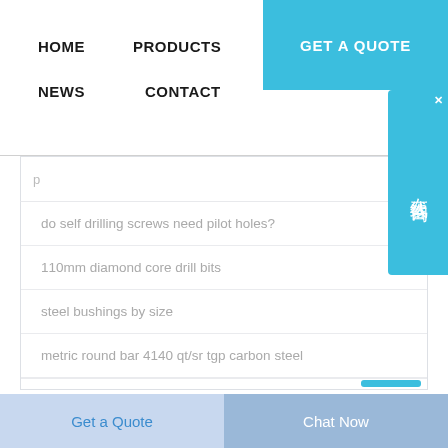HOME   PRODUCTS   ABOUT   GET A QUOTE   NEWS   CONTACT
do self drilling screws need pilot holes?
110mm diamond core drill bits
steel bushings by size
metric round bar 4140 qt/sr tgp carbon steel
Get a Quote   Chat Now